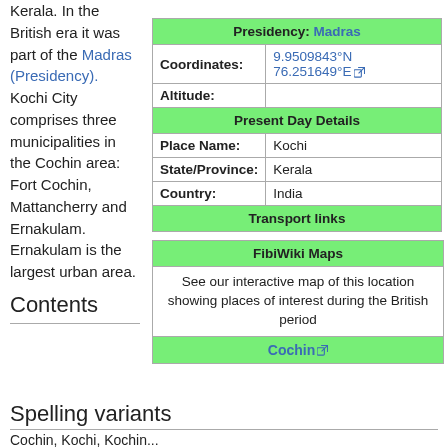Kerala. In the British era it was part of the Madras (Presidency). Kochi City comprises three municipalities in the Cochin area: Fort Cochin, Mattancherry and Ernakulam. Ernakulam is the largest urban area.
| Presidency: | Madras |
| Coordinates: | 9.9509843°N 76.251649°E |
| Altitude: |  |
| Present Day Details |  |
| Place Name: | Kochi |
| State/Province: | Kerala |
| Country: | India |
| Transport links |  |
| FibiWiki Maps |
| See our interactive map of this location showing places of interest during the British period |
| Cochin |
Contents
Spelling variants
Cochin, Kochi, Kochin...